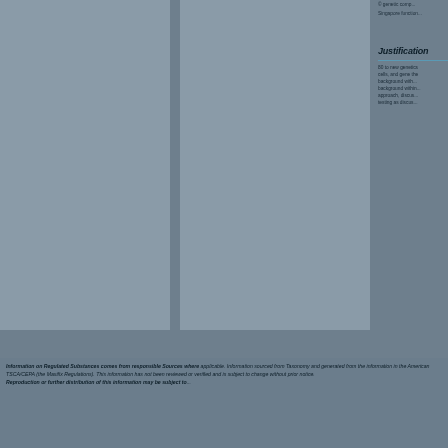© genetic comp...
Singapore function...
Justification
80 to new genetics cells, and gene the... background with... background within... approach, discus... testing as discus...
Information on Regulated Substances comes from responsible Sources where applicable. Information sourced from Taxonomy and generated from the information in the American TSCA/CEPA (the Maxifix Regulations). This information has not been reviewed or verified and is subject to change without prior notice. Reproduction or further distribution of this information may be subject to...